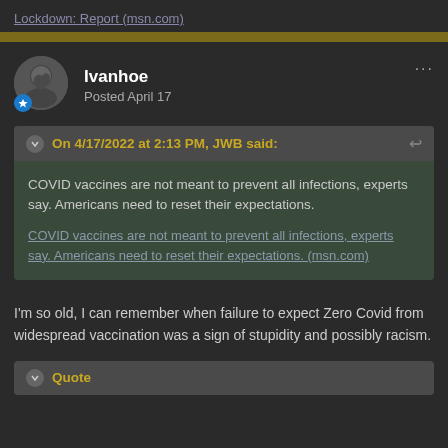Lockdown: Report (msn.com)
On 4/17/2022 at 2:13 PM, JWB said:
COVID vaccines are not meant to prevent all infections, experts say. Americans need to reset their expectations.

COVID vaccines are not meant to prevent all infections, experts say. Americans need to reset their expectations. (msn.com)
I'm so old, I can remember when failure to expect Zero Covid from widespread vaccination was a sign of stupidity and possibly racism.
Quote